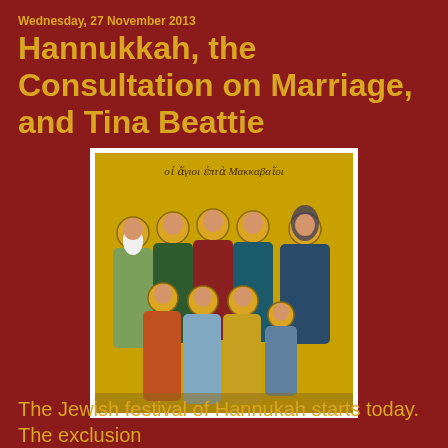Wednesday, 27 November 2013
Hannukkah, the Consultation on Marriage, and Tina Beattie
[Figure (illustration): Byzantine icon of the Seven Maccabee Martyrs and their mother Solomone, with Greek text 'οἱ ἅγιοι ἑπτὰ Μακκαβαῖοι' at the top. The icon shows eight figures with golden halos arranged in two rows against a golden background, wearing robes in various colors including green, red, blue, and teal.]
The Jewish festival of Hannukah starts today. The exclusion